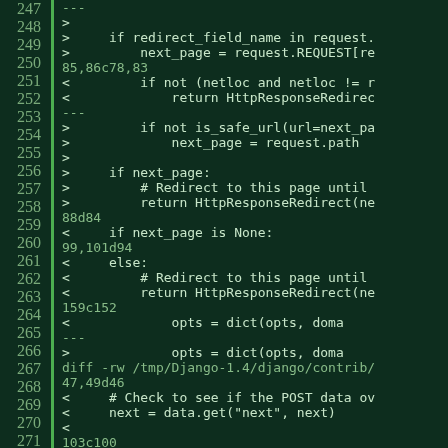[Figure (screenshot): Code diff view with dark green background showing line numbers 247-275 on the left and diff content on the right, including Python code changes related to redirect_field_name, next_page, HttpResponseRedirect, is_safe_url, and Django contrib files.]